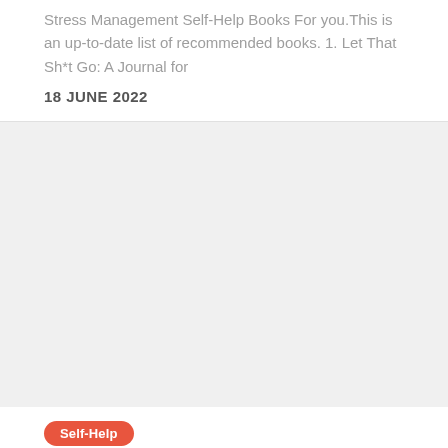Stress Management Self-Help Books For you.This is an up-to-date list of recommended books. 1. Let That Sh*t Go: A Journal for
18 JUNE 2022
[Figure (other): Gray placeholder image block]
Self-Help
Best Self-Improvement Books